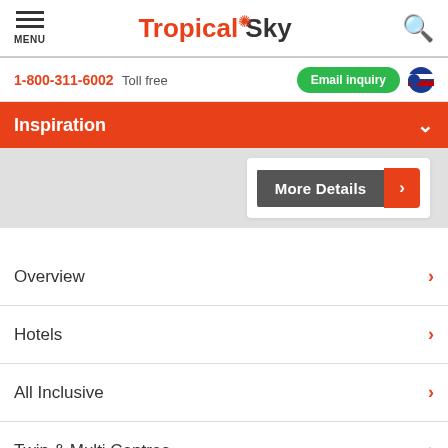MENU | Tropical Sky | Search
1-800-311-6002 Toll free | Email inquiry
Inspiration
[Figure (screenshot): More Details button with orange arrow on white card over grey background]
Overview
Hotels
All Inclusive
Twin & Multi Centres